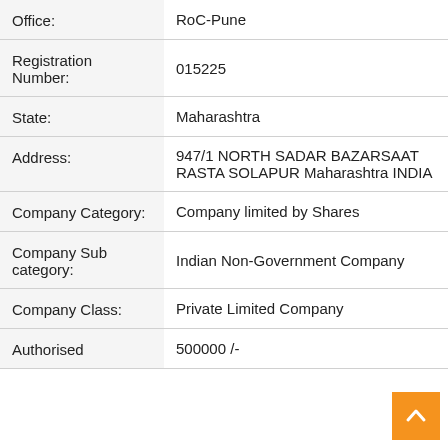| Field | Value |
| --- | --- |
| Office: | RoC-Pune |
| Registration Number: | 015225 |
| State: | Maharashtra |
| Address: | 947/1 NORTH SADAR BAZARSAAT RASTA SOLAPUR Maharashtra INDIA |
| Company Category: | Company limited by Shares |
| Company Sub category: | Indian Non-Government Company |
| Company Class: | Private Limited Company |
| Authorised | 500000 /- |